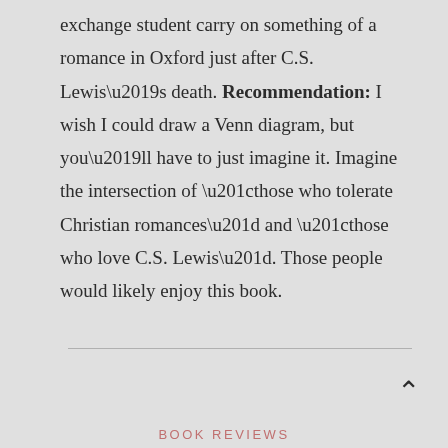exchange student carry on something of a romance in Oxford just after C.S. Lewis's death. Recommendation: I wish I could draw a Venn diagram, but you'll have to just imagine it. Imagine the intersection of “those who tolerate Christian romances” and “those who love C.S. Lewis”. Those people would likely enjoy this book.
BOOK REVIEWS